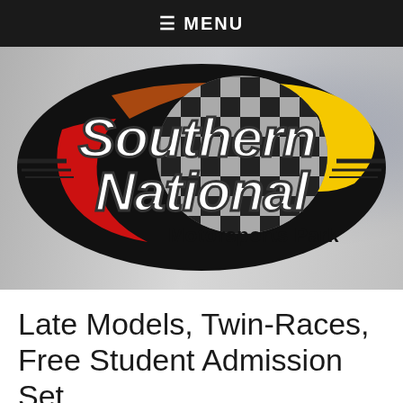≡ MENU
[Figure (logo): Southern National Motorsports Park logo — black oval with checkered flag pattern, red swoosh accent, yellow swoosh accent, white italic text reading 'Southern National' and 'Motorsports Park' in black/gray sans-serif]
Late Models, Twin-Races, Free Student Admission Set